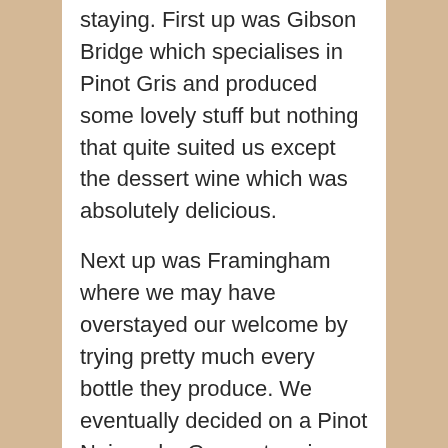staying. First up was Gibson Bridge which specialises in Pinot Gris and produced some lovely stuff but nothing that quite suited us except the dessert wine which was absolutely delicious.
Next up was Framingham where we may have overstayed our welcome by trying pretty much every bottle they produce. We eventually decided on a Pinot Noir and a Gewurztraminer that Jen absolutely loved thanks to its flavours of lychee and Turkish delight.
Our final vineyard after a wasted